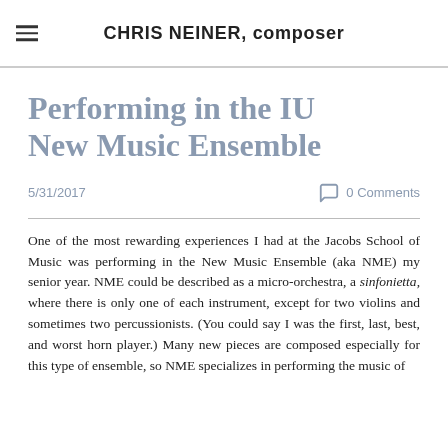CHRIS NEINER, composer
Performing in the IU New Music Ensemble
5/31/2017
0 Comments
One of the most rewarding experiences I had at the Jacobs School of Music was performing in the New Music Ensemble (aka NME) my senior year. NME could be described as a micro-orchestra, a sinfonietta, where there is only one of each instrument, except for two violins and sometimes two percussionists. (You could say I was the first, last, best, and worst horn player.) Many new pieces are composed especially for this type of ensemble, so NME specializes in performing the music of